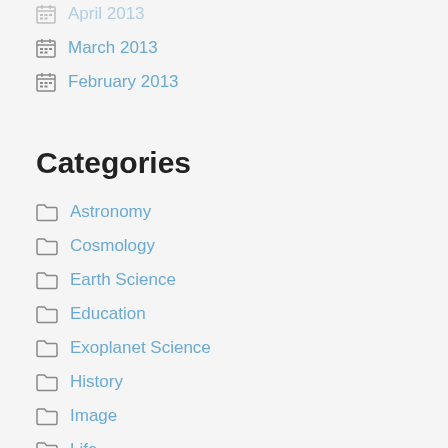April 2013
March 2013
February 2013
Categories
Astronomy
Cosmology
Earth Science
Education
Exoplanet Science
History
Image
Life
Mathematics